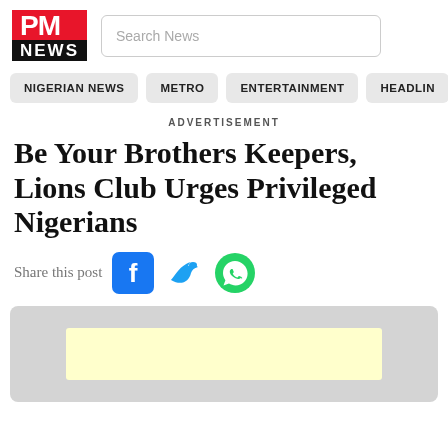[Figure (logo): PM NEWS logo — red block with white 'PM' text above black block with white 'NEWS' text]
Search News
NIGERIAN NEWS | METRO | ENTERTAINMENT | HEADLINES
ADVERTISEMENT
Be Your Brothers Keepers, Lions Club Urges Privileged Nigerians
Share this post
[Figure (infographic): Social share icons: Facebook (blue), Twitter (blue bird), WhatsApp (green)]
[Figure (other): Advertisement block — grey container with light yellow banner inside]